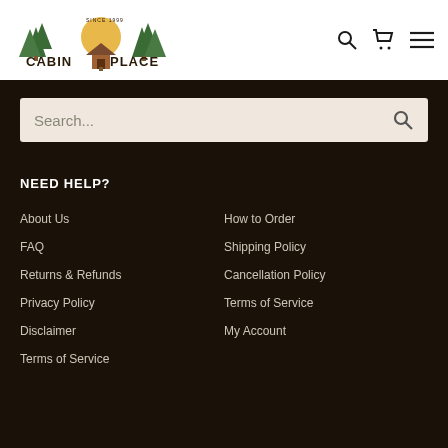[Figure (logo): Cabin Place - Rustic Cabin Decor logo with pine trees and cabin illustration, 'Since 1999']
Search...
NEED HELP?
About Us
FAQ
Returns & Refunds
Privacy Policy
Disclaimer
Terms of Service
How to Order
Shipping Policy
Cancellation Policy
Terms of Service
My Account